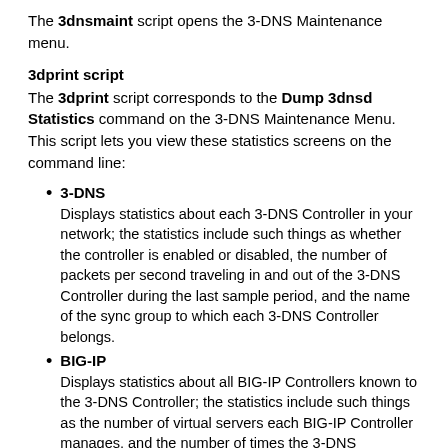The 3dnsmaint script opens the 3-DNS Maintenance menu.
3dprint script
The 3dprint script corresponds to the Dump 3dnsd Statistics command on the 3-DNS Maintenance Menu. This script lets you view these statistics screens on the command line:
3-DNS
Displays statistics about each 3-DNS Controller in your network; the statistics include such things as whether the controller is enabled or disabled, the number of packets per second traveling in and out of the 3-DNS Controller during the last sample period, and the name of the sync group to which each 3-DNS Controller belongs.
BIG-IP
Displays statistics about all BIG-IP Controllers known to the 3-DNS Controller; the statistics include such things as the number of virtual servers each BIG-IP Controller manages, and the number of times the 3-DNS Controller resolves requests to those virtual servers.
Hosts
Displays statistics about all hosts known to the 3-DNS